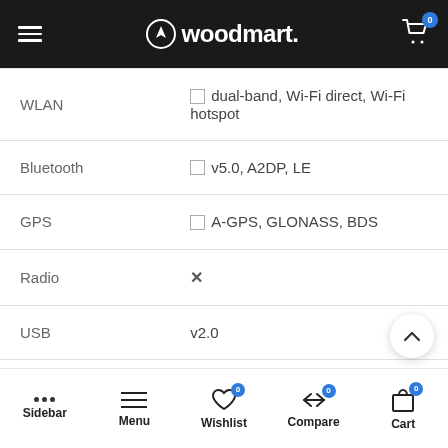woodmart. (logo with cart icon showing 0)
| Feature | Value |
| --- | --- |
| WLAN | [] dual-band, Wi-Fi direct, Wi-Fi hotspot |
| Bluetooth | [] v5.0, A2DP, LE |
| GPS | [] A-GPS, GLONASS, BDS |
| Radio | ✕ |
| USB | v2.0 |
| OTG | [] |
| USB Type C | [] |
Sidebar | Menu | Wishlist (0) | Compare (0) | Cart (0)